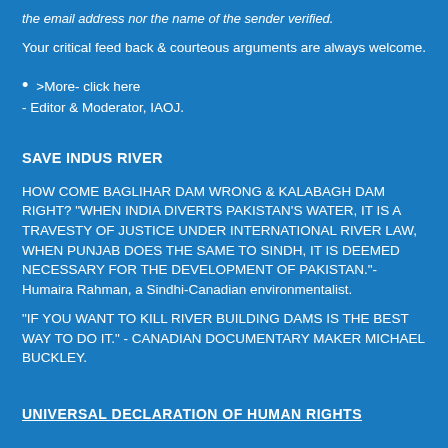the email address nor the name of the sender verified.
Your critical feed back & courteous arguments are always welcome.
>More- click here
- Editor & Moderator, IAOJ.
SAVE INDUS RIVER
HOW COME BAGLIHAR DAM WRONG & KALABAGH DAM RIGHT? "WHEN INDIA DIVERTS PAKISTAN'S WATER, IT IS A TRAVESTY OF JUSTICE UNDER INTERNATIONAL RIVER LAW, WHEN PUNJAB DOES THE SAME TO SINDH, IT IS DEEMED NECESSARY FOR THE DEVELOPMENT OF PAKISTAN."- Humaira Rahman, a Sindhi-Canadian environmentalist.
"IF YOU WANT TO KILL RIVER BUILDING DAMS IS THE BEST WAY TO DO IT." - CANADIAN DOCUMENTARY MAKER MICHAEL BUCKLEY.
UNIVERSAL DECLARATION OF HUMAN RIGHTS